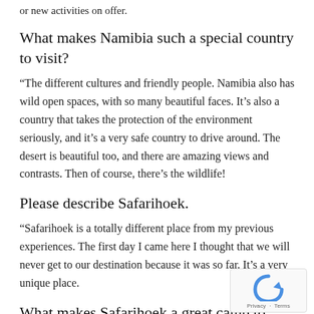or new activities on offer.
What makes Namibia such a special country to visit?
“The different cultures and friendly people. Namibia also has wild open spaces, with so many beautiful faces. It’s also a country that takes the protection of the environment seriously, and it’s a very safe country to drive around. The desert is beautiful too, and there are amazing views and contrasts. Then of course, there’s the wildlife!
Please describe Safarihoek.
“Safarihoek is a totally different place from my previous experiences. The first day I came here I thought that we will never get to our destination because it was so far. It’s a very unique place.
What makes Safarihoek a great camp to visit?